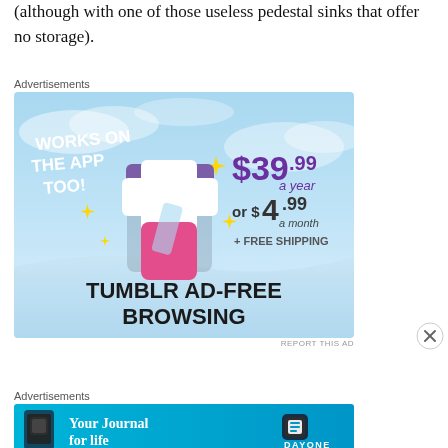(although with one of those useless pedestal sinks that offer no storage).
Advertisements
[Figure (illustration): Tumblr Ad-Free Browsing advertisement. Shows Tumblr 't' logo with gradient colors (purple, pink, white) on a light blue sky background with yellow sparkle stars. Text reads: WORKS ON THE APP TOO! $39.99 a year or $4.99 a month + FREE SHIPPING. TUMBLR AD-FREE BROWSING.]
REPORT THIS AD
Advertisements
[Figure (illustration): DayOne app advertisement on cyan/teal background. Shows a smartphone with the DayOne app and text: Your Journal for life. DayOne logo on the right.]